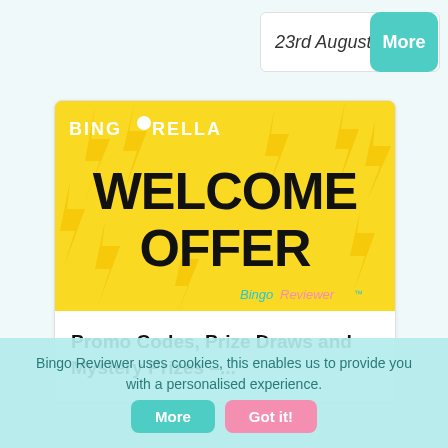23rd August
[Figure (screenshot): Bingorella Welcome Offer banner advertisement with yellow background and lightning bolt decorations, showing WELCOME OFFER text in bold black letters and Bingo Reviewer logo]
Promo Codes, Prize Draws and Mystery Prizes –...
Bingo Reviewer uses cookies, this enables us to provide you with a personalised experience.